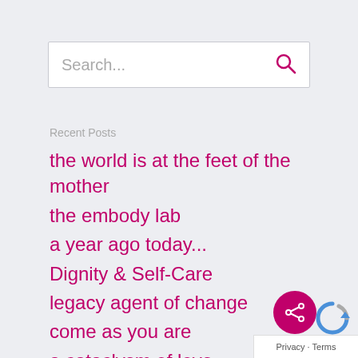Search...
Recent Posts
the world is at the feet of the mother
the embody lab
a year ago today...
Dignity & Self-Care
legacy agent of change
come as you are
a cataclysm of love
Privacy · Terms